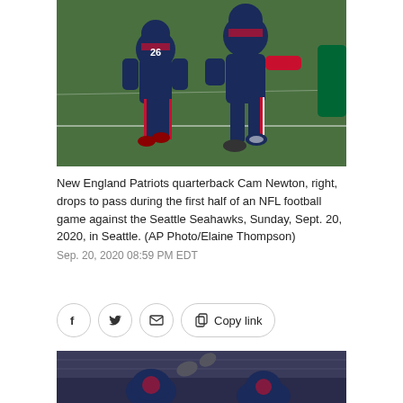[Figure (photo): New England Patriots players on football field, player with number 26 jersey and quarterback Cam Newton dropping back to pass, grass field background]
New England Patriots quarterback Cam Newton, right, drops to pass during the first half of an NFL football game against the Seattle Seahawks, Sunday, Sept. 20, 2020, in Seattle. (AP Photo/Elaine Thompson)
Sep. 20, 2020 08:59 PM EDT
[Figure (photo): New England Patriots players on sideline or field, partially visible, stadium in background]